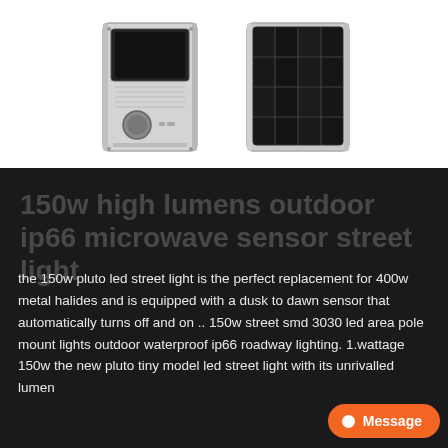[Figure (photo): Two product photos side by side: left shows front face of a solar-powered street light unit (rectangular device with speaker grille, sensor, and LED panel visible), right shows the back solar panel of the unit. Both have silver/grey aluminum housings against white background.]
150w high lumens outdoor ip66 microwave sensor street light
the 150w pluto led street light is the perfect replacement for 400w metal halides and is equipped with a dusk to dawn sensor that automatically turns off and on .. 150w street smd 3030 led area pole mount lights outdoor waterproof ip66 roadway lighting. 1.wattage 150w the new pluto tiny model led street light with its unrivalled lumen